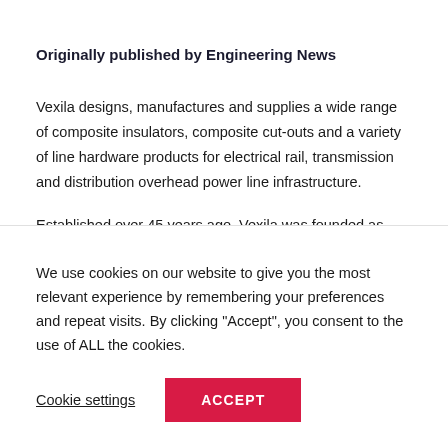Originally published by Engineering News
Vexila designs, manufactures and supplies a wide range of composite insulators, composite cut-outs and a variety of line hardware products for electrical rail, transmission and distribution overhead power line infrastructure.
Established over 45 years ago, Vexila was founded as Hardware Assemblies before being acquired by the German- Swiss PFISTERER Group in 2003, a move that significantly advanced the company's research and development capabilities and expanded its product range
We use cookies on our website to give you the most relevant experience by remembering your preferences and repeat visits. By clicking “Accept”, you consent to the use of ALL the cookies.
Cookie settings
ACCEPT